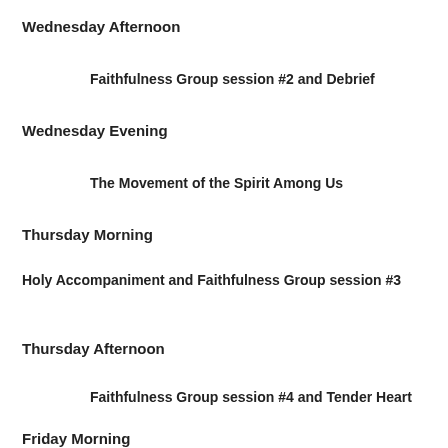Wednesday Afternoon
Faithfulness Group session #2 and Debrief
Wednesday Evening
The Movement of the Spirit Among Us
Thursday Morning
Holy Accompaniment and Faithfulness Group session #3
Thursday Afternoon
Faithfulness Group session #4 and Tender Heart
Friday Morning